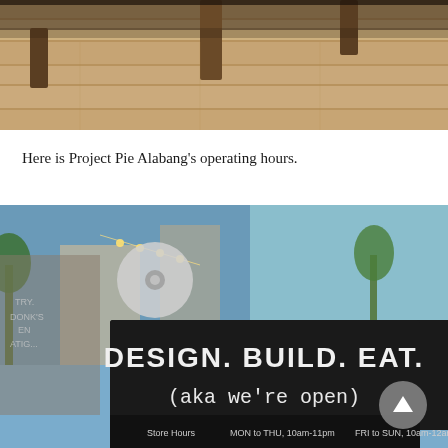[Figure (photo): Top portion of a photo showing wooden furniture legs on a light hardwood floor, viewed from above/side angle.]
Here is Project Pie Alabang's operating hours.
[Figure (photo): Photo of a restaurant storefront with a black chalkboard sign reading 'DESIGN. BUILD. EAT. (aka we're open)' with store hours: MON to THU, 10am-11pm and FRI to SUN, 10am-12am. A circular back-to-top button is visible in the lower right.]